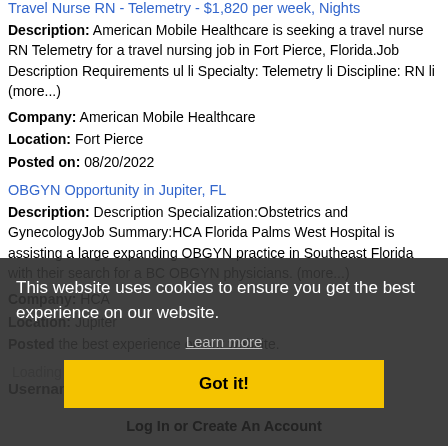Travel Nurse RN - Telemetry - $1,820 per week, Nights
Description: American Mobile Healthcare is seeking a travel nurse RN Telemetry for a travel nursing job in Fort Pierce, Florida.Job Description Requirements ul li Specialty: Telemetry li Discipline: RN li (more...)
Company: American Mobile Healthcare
Location: Fort Pierce
Posted on: 08/20/2022
OBGYN Opportunity in Jupiter, FL
Description: Description Specialization:Obstetrics and GynecologyJob Summary:HCA Florida Palms West Hospital is assisting a large expanding OBGYN practice in Southeast Florida with their search for a BC OBGYN physicians. (more...)
Company: HCA
Location: Jupiter
Posted
This website uses cookies to ensure you get the best experience on our website.
Learn more
Loading more jobs...
Got it!
Log In or Create An Account
Username: